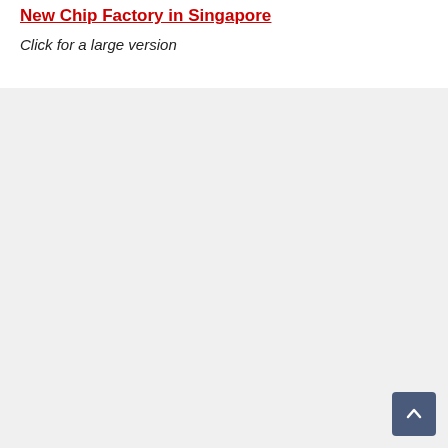New Chip Factory in Singapore
Click for a large version